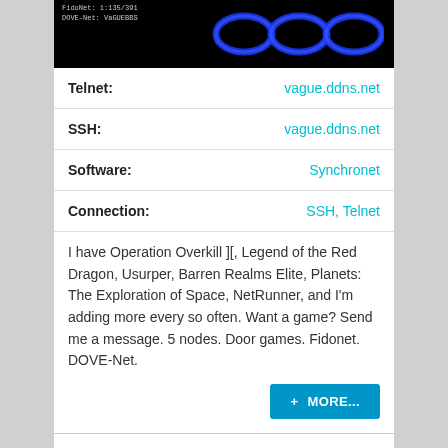[Figure (screenshot): Black BBS terminal screenshot showing FidoNet/DOVE-Net info and blue ring logo on right]
| Label | Value |
| --- | --- |
| Telnet: | vague.ddns.net |
| SSH: | vague.ddns.net |
| Software: | Synchronet |
| Connection: | SSH, Telnet |
I have Operation Overkill ][, Legend of the Red Dragon, Usurper, Barren Realms Elite, Planets: The Exploration of Space, NetRunner, and I'm adding more every so often. Want a game? Send me a message. 5 nodes. Door games. Fidonet. DOVE-Net.
Valhalla Home Services (CAD)